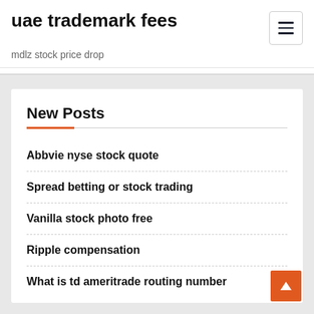uae trademark fees
mdlz stock price drop
New Posts
Abbvie nyse stock quote
Spread betting or stock trading
Vanilla stock photo free
Ripple compensation
What is td ameritrade routing number